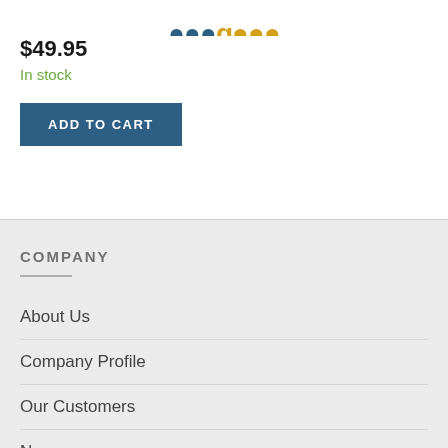[Figure (logo): Partial company logo visible at top of page with blue and gold/yellow colored text]
$49.95
In stock
ADD TO CART
COMPANY
About Us
Company Profile
Our Customers
News